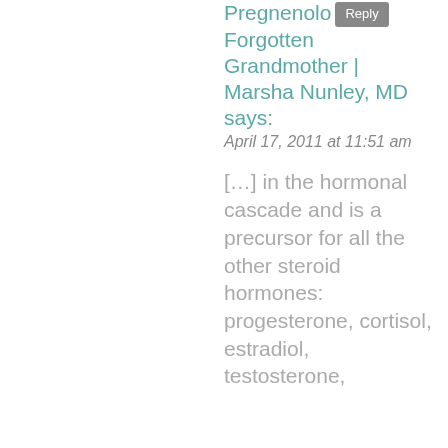Pregnenolone: Forgotten Grandmother | Marsha Nunley, MD says:
April 17, 2011 at 11:51 am
[…] in the hormonal cascade and is a precursor for all the other steroid hormones: progesterone,  cortisol,  estradiol,  testosterone,